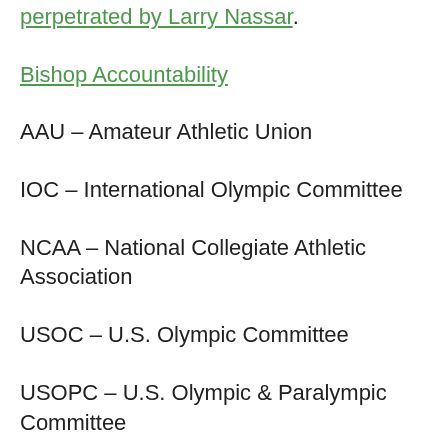perpetrated by Larry Nassar.
Bishop Accountability
AAU – Amateur Athletic Union
IOC – International Olympic Committee
NCAA – National Collegiate Athletic Association
USOC – U.S. Olympic Committee
USOPC – U.S. Olympic & Paralympic Committee
Listen to our earlier interview with Dr. Marci Hamilton, “Radically Vulnerable: Achieving